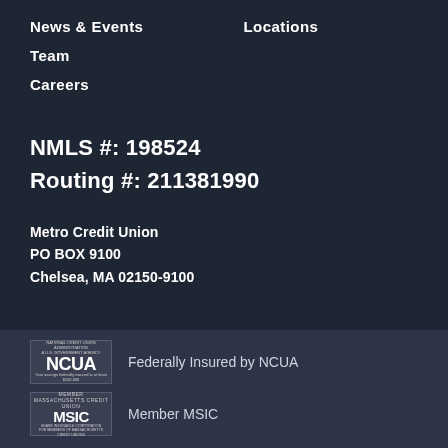News & Events
Locations
Team
Careers
NMLS #: 198524
Routing #: 211381990
Metro Credit Union
PO BOX 9100
Chelsea, MA 02150-9100
[Figure (logo): NCUA logo badge — Federally Insured by NCUA]
Federally Insured by NCUA
[Figure (logo): MSIC Member badge — Massachusetts Credit Union Share Insurance Corporation]
Member MSIC